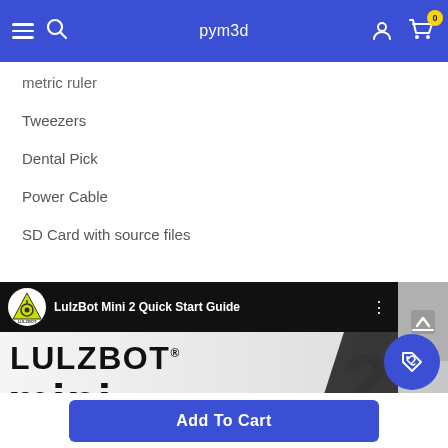pym3d
metric ruler
Tweezers
Dental Pick
Power Cable
SD Card with source files
[Figure (screenshot): YouTube video thumbnail for LulzBot Mini 2 Quick Start Guide, showing LulzBot logo, video title, and large LULZBOT MINI 2 branding text on white/black background]
Add To Cart